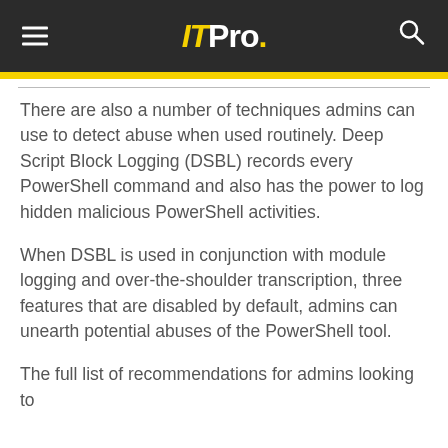IT Pro.
There are also a number of techniques admins can use to detect abuse when used routinely. Deep Script Block Logging (DSBL) records every PowerShell command and also has the power to log hidden malicious PowerShell activities.
When DSBL is used in conjunction with module logging and over-the-shoulder transcription, three features that are disabled by default, admins can unearth potential abuses of the PowerShell tool.
The full list of recommendations for admins looking to